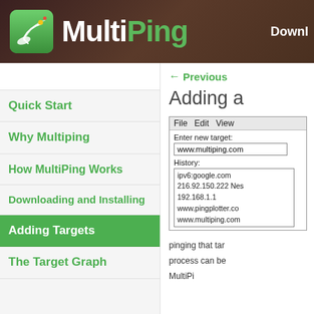MultiPing — Downl
Quick Start
Why Multiping
How MultiPing Works
Downloading and Installing
Adding Targets
The Target Graph
← Previous
Adding a
[Figure (screenshot): MultiPing application window showing File Edit View menu bar, 'Enter new target:' field with www.multiping.com, History list showing ipv6:google.com, 216.92.150.222 Nes, 192.168.1.1, www.pingplotter.co, www.multiping.com]
pinging that tar
process can be
MultiPi